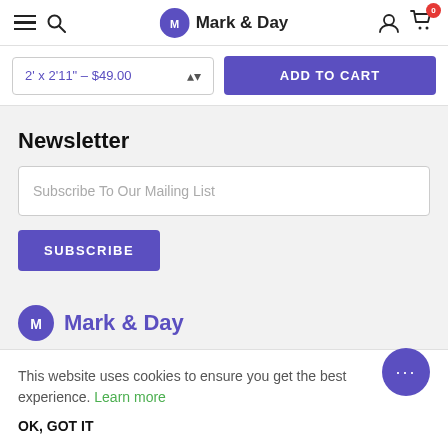Mark & Day — Navigation header with hamburger menu, search, logo, user icon, cart (0 items)
2' x 2'11" – $49.00
ADD TO CART
Newsletter
Subscribe To Our Mailing List
SUBSCRIBE
[Figure (logo): Mark & Day logo — purple circle with M&D monogram, text Mark & Day in purple]
This website uses cookies to ensure you get the best experience. Learn more
OK, GOT IT